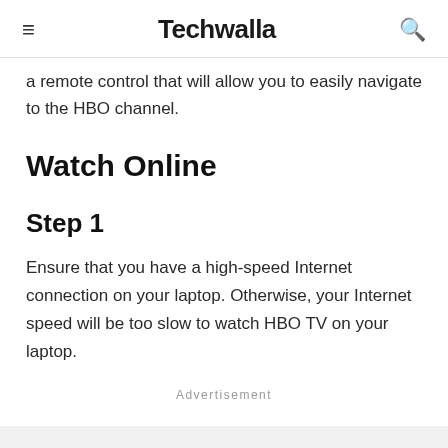≡  Techwalla  🔍
a remote control that will allow you to easily navigate to the HBO channel.
Watch Online
Step 1
Ensure that you have a high-speed Internet connection on your laptop. Otherwise, your Internet speed will be too slow to watch HBO TV on your laptop.
Advertisement